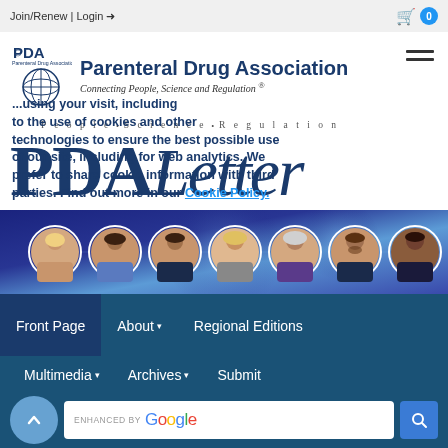Join/Renew | Login  [cart] 0
[Figure (logo): PDA (Parenteral Drug Association) logo with globe icon, tagline 'Connecting People, Science and Regulation®']
...using your visit, including to the use of cookies and other technologies to ensure the best possible use of our site, including for web analytics. We prefer to share cookie information with third parties. Find out more in our Cookie Policy.
[Figure (logo): PDA Letter publication logo — 'PDA' in bold serif and 'Letter' in italic serif, navy blue]
[Figure (photo): Banner showing 8 circular portrait photos of people on a blue technology/network background]
Front Page | About ▾ | Regional Editions | Multimedia ▾ | Archives ▾ | Submit
[Figure (screenshot): Search bar enhanced by Google]